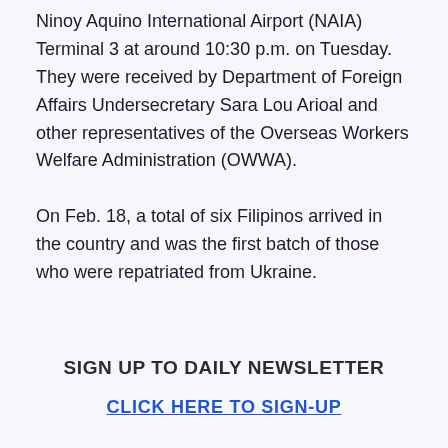Ninoy Aquino International Airport (NAIA) Terminal 3 at around 10:30 p.m. on Tuesday. They were received by Department of Foreign Affairs Undersecretary Sara Lou Arioal and other representatives of the Overseas Workers Welfare Administration (OWWA).
On Feb. 18, a total of six Filipinos arrived in the country and was the first batch of those who were repatriated from Ukraine.
SIGN UP TO DAILY NEWSLETTER
CLICK HERE TO SIGN-UP